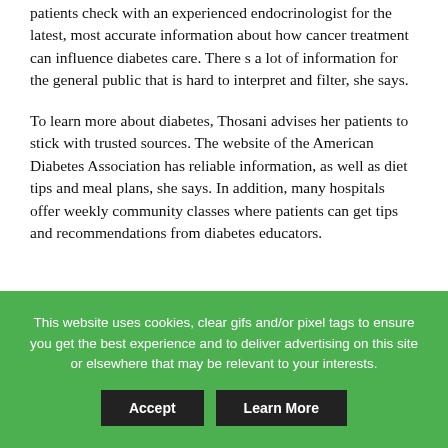patients check with an experienced endocrinologist for the latest, most accurate information about how cancer treatment can influence diabetes care. There s a lot of information for the general public that is hard to interpret and filter, she says.
To learn more about diabetes, Thosani advises her patients to stick with trusted sources. The website of the American Diabetes Association has reliable information, as well as diet tips and meal plans, she says. In addition, many hospitals offer weekly community classes where patients can get tips and recommendations from diabetes educators.
This website uses cookies, clear gifs and/or pixel tags to ensure you get the best experience and to deliver advertising on this site or elsewhere that may be relevant to your interests.